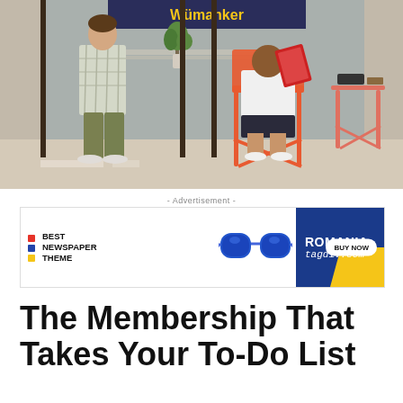[Figure (photo): Outdoor scene in front of a store with a sign reading 'Wümanker'. A woman in a plaid shirt and olive pants stands near the glass door entrance. A child sits in an orange chair at a coral-colored bistro table, reading a magazine.]
- Advertisement -
[Figure (other): Advertisement banner for 'Best Newspaper Theme' by Romania tagdiv.com. Shows sunglasses imagery with a 'BUY NOW' button on a blue and yellow background.]
The Membership That Takes Your To-Do List